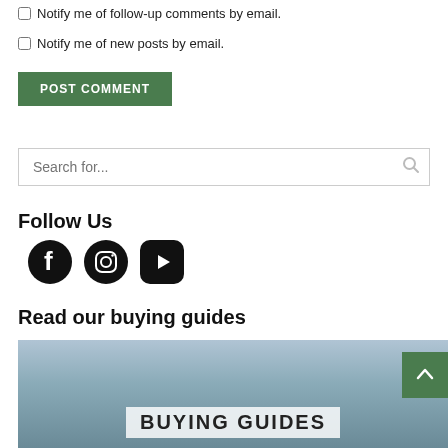Notify me of follow-up comments by email.
Notify me of new posts by email.
POST COMMENT
Search for...
Follow Us
[Figure (illustration): Social media icons: Facebook, Instagram, YouTube (rounded square)]
Read our buying guides
[Figure (photo): Buying guides banner image with 'BUYING GUIDES' text overlay]